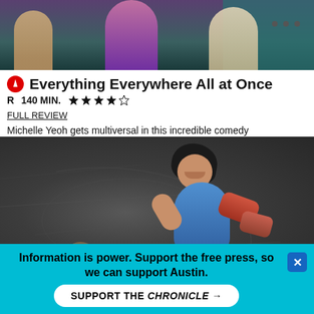[Figure (photo): Top portion of a movie still showing people standing, partial bodies visible, purple and teal background]
Everything Everywhere All at Once
R  140 MIN.  ★★★★☆
FULL REVIEW
Michelle Yeoh gets multiversal in this incredible comedy
[Figure (photo): Movie still from Everything Everywhere All at Once showing a woman in blue top viewed from above, holding a prop, on a textured dark floor with chalk-like patterns]
Information is power. Support the free press, so we can support Austin.
SUPPORT THE CHRONICLE →